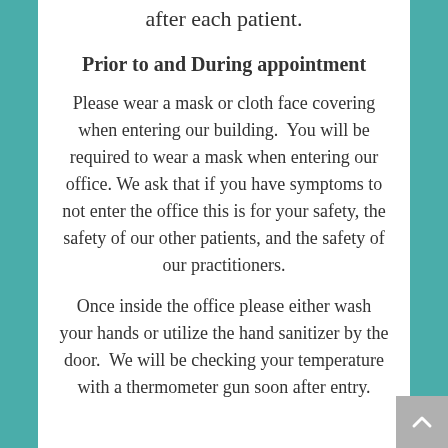after each patient.
Prior to and During appointment
Please wear a mask or cloth face covering when entering our building.  You will be required to wear a mask when entering our office. We ask that if you have symptoms to not enter the office this is for your safety, the safety of our other patients, and the safety of our practitioners.
Once inside the office please either wash your hands or utilize the hand sanitizer by the door.  We will be checking your temperature with a thermometer gun soon after entry.